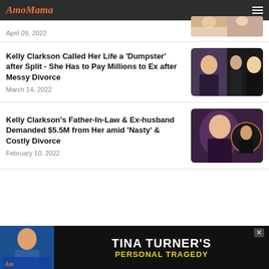AmoMama
April 09, 2022
[Figure (photo): Partial photo of two women with red/blonde hair]
Kelly Clarkson Called Her Life a 'Dumpster' after Split - She Has to Pay Millions to Ex after Messy Divorce
March 14, 2022
[Figure (photo): Composite of Kelly Clarkson crying and a man and woman at an event]
Kelly Clarkson's Father-In-Law & Ex-husband Demanded $5.5M from Her amid 'Nasty' & Costly Divorce
February 10, 2022
[Figure (photo): Composite of Kelly Clarkson and her ex-husband and father-in-law]
[Figure (photo): Advertisement banner: Tina Turner's Personal Tragedy with photo of Tina Turner]